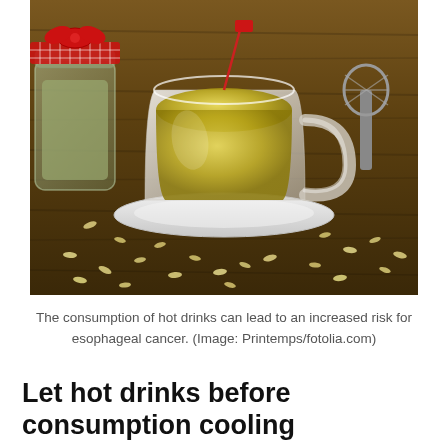[Figure (photo): A glass cup of green/yellow herbal tea on a white saucer, placed on a wooden table. Scattered herbal seeds/fennel around the cup. A glass jar with a red checkered ribbon containing dried herbs is visible on the left. A tea strainer is visible on the right.]
The consumption of hot drinks can lead to an increased risk for esophageal cancer. (Image: Printemps/fotolia.com)
Let hot drinks before consumption cooling